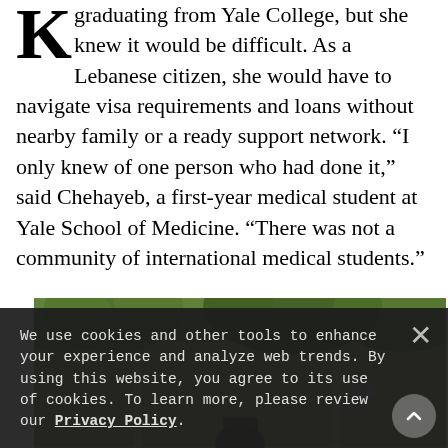graduating from Yale College, but she knew it would be difficult. As a Lebanese citizen, she would have to navigate visa requirements and loans without nearby family or a ready support network. “I only knew of one person who had done it,” said Chehayeb, a first-year medical student at Yale School of Medicine. “There was not a community of international medical students.”
[Figure (photo): Outdoor photograph showing a person partially visible beneath green leafy trees, likely on a Yale campus building entrance.]
We use cookies and other tools to enhance your experience and analyze web trends. By using this website, you agree to its use of cookies. To learn more, please review our Privacy Policy.